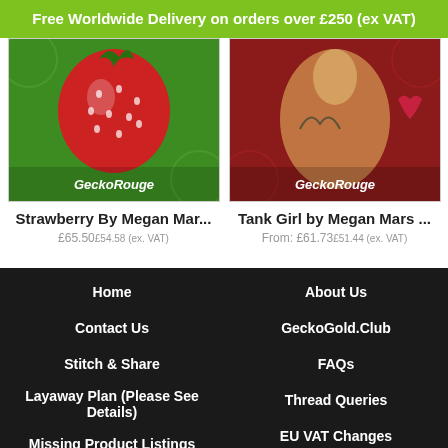Free Worldwide Delivery on orders over £250 (ex VAT)
[Figure (photo): Product image of Strawberry embroidery kit by GeckoRouge, showing a close-up strawberry on green background with GeckoRouge logo]
Strawberry By Megan Mar...
£65.50£54.58 (ex. VAT)
[Figure (photo): Product image of Tank Girl embroidery kit by GeckoRouge, showing a tattooed woman on red background with GeckoRouge logo]
Tank Girl by Megan Mars ...
From: £61.73£51.44 (ex. VAT)
Home
About Us
Contact Us
GeckoGold.Club
Stitch & Share
FAQs
Layaway Plan (Please See Details)
Thread Queries
Missing Product Listings
EU VAT Changes